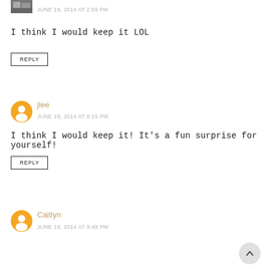[Figure (photo): Small thumbnail avatar image in top left corner]
JUNE 19, 2014 AT 2:59 PM
I think I would keep it LOL
REPLY
[Figure (illustration): Blogger orange circle avatar icon for user jlee]
jlee
JUNE 19, 2014 AT 8:15 PM
I think I would keep it! It's a fun surprise for yourself!
REPLY
[Figure (illustration): Blogger orange circle avatar icon for user Caitlyn]
Caitlyn
JUNE 19, 2014 AT 9:48 PM